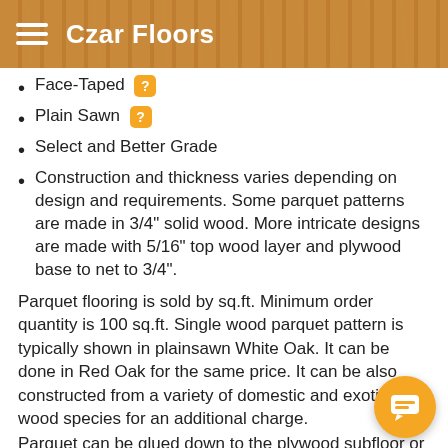Czar Floors
Face-Taped
Plain Sawn
Select and Better Grade
Construction and thickness varies depending on design and requirements. Some parquet patterns are made in 3/4" solid wood. More intricate designs are made with 5/16" top wood layer and plywood base to net to 3/4".
Parquet flooring is sold by sq.ft. Minimum order quantity is 100 sq.ft. Single wood parquet pattern is typically shown in plainsawn White Oak. It can be done in Red Oak for the same price. It can be also constructed from a variety of domestic and exotic wood species for an additional charge.
Parquet can be glued down to the plywood subfloor or concrete using recommended adhesive Bostik Best. For more details, check Parquet Installation Instructions.
Please note that on-screen colors are not necessarily precise